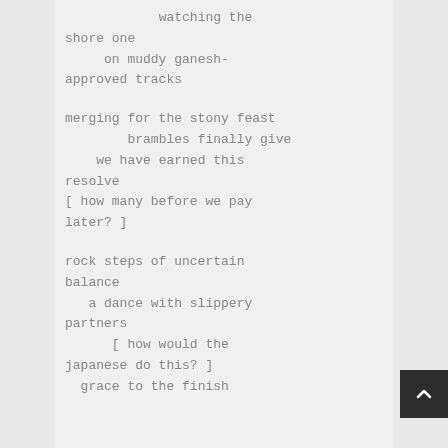watching the shore one
    on muddy ganesh-approved tracks

merging for the stony feast
        brambles finally give
    we have earned this resolve
[ how many before we pay later? ]

rock steps of uncertain balance
   a dance with slippery partners
        [ how would the japanese do this? ]
  grace to the finish